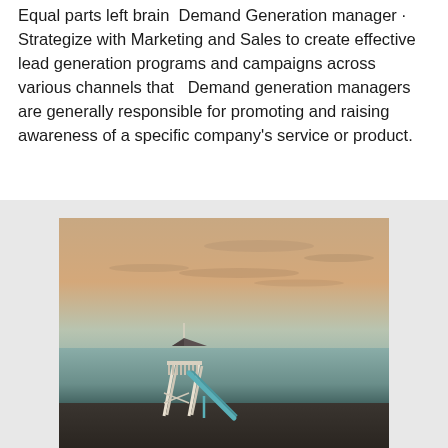Equal parts left brain  Demand Generation manager · Strategize with Marketing and Sales to create effective lead generation programs and campaigns across various channels that   Demand generation managers are generally responsible for promoting and raising awareness of a specific company's service or product.
[Figure (photo): A lifeguard tower with a slide on a beach at sunset/dusk, with calm water and a hazy orange-teal sky in the background.]